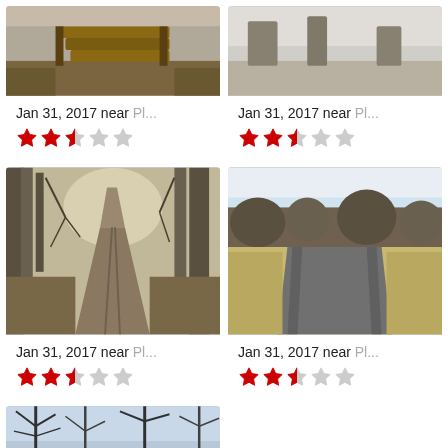[Figure (photo): Wooden steps/bench outdoor area, Jan 2017]
Jan 31, 2017 near Pl...
[Figure (photo): Winter path with bare trees, Jan 2017]
Jan 31, 2017 near Pl...
[Figure (photo): Boardwalk path through winter woods, Jan 2017]
Jan 31, 2017 near Pl...
[Figure (photo): Open paved path through park with dry grass, Jan 2017]
Jan 31, 2017 near Pl...
[Figure (photo): Trees silhouette against sky, Jan 2017 (partial)]